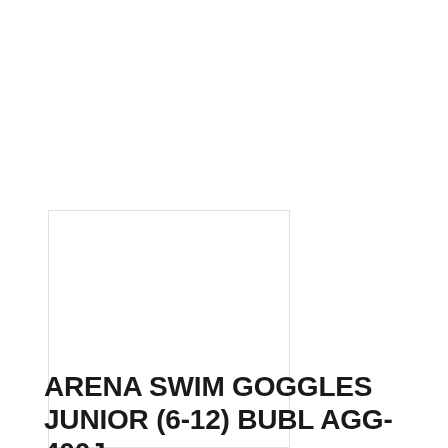[Figure (photo): Product thumbnail image placeholder — white square with light grey border, representing swim goggles product image]
ARENA SWIM GOGGLES JUNIOR (6-12) BUBL AGG-400J
Rp199,000  Rp139,300
OFFER ENDS IN: